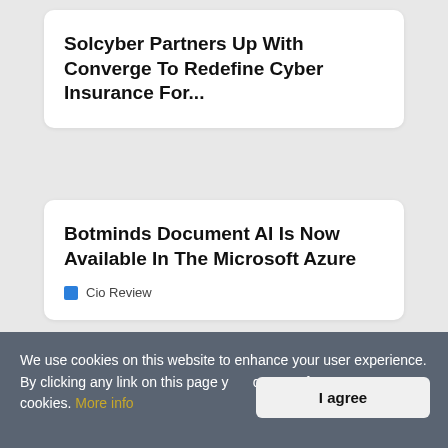Solcyber Partners Up With Converge To Redefine Cyber Insurance For...
Botminds Document AI Is Now Available In The Microsoft Azure
Cio Review
Balbix Launches New Servicenow Integrations To Automate And Boost...
We use cookies on this website to enhance your user experience. By clicking any link on this page you are giving your consent for us to set cookies. More info